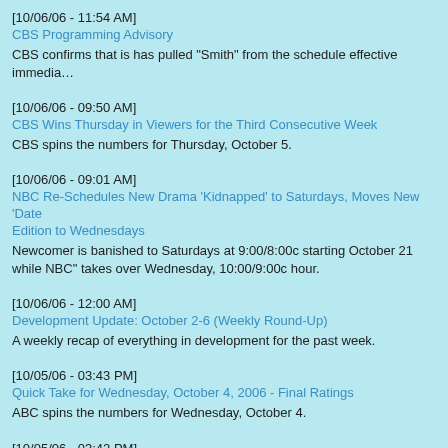[10/06/06 - 11:54 AM]
CBS Programming Advisory
CBS confirms that is has pulled "Smith" from the schedule effective immedia…
[10/06/06 - 09:50 AM]
CBS Wins Thursday in Viewers for the Third Consecutive Week
CBS spins the numbers for Thursday, October 5.
[10/06/06 - 09:01 AM]
NBC Re-Schedules New Drama 'Kidnapped' to Saturdays, Moves New 'Date Edition to Wednesdays
Newcomer is banished to Saturdays at 9:00/8:00c starting October 21 while NBC" takes over Wednesday, 10:00/9:00c hour.
[10/06/06 - 12:00 AM]
Development Update: October 2-6 (Weekly Round-Up)
A weekly recap of everything in development for the past week.
[10/05/06 - 03:43 PM]
Quick Take for Wednesday, October 4, 2006 - Final Ratings
ABC spins the numbers for Wednesday, October 4.
[10/05/06 - 03:42 PM]
Revolutionary Interactive Marketing Endeavor Concludes, Making "The Lost One of the Most Unique Multi-Platform Campaigns in Television History
ABC touts the success of its global promotion initiative for the hit series.